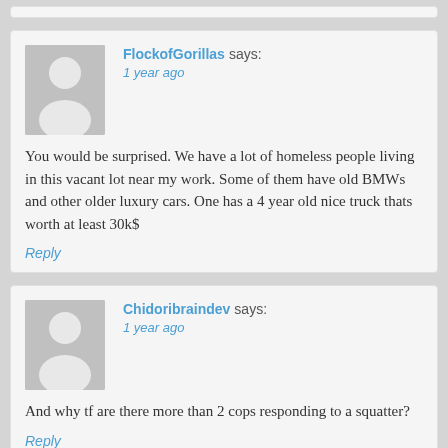FlockofGorillas says: 1 year ago You would be surprised. We have a lot of homeless people living in this vacant lot near my work. Some of them have old BMWs and other older luxury cars. One has a 4 year old nice truck thats worth at least 30k$ Reply
Chidoribraindev says: 1 year ago And why tf are there more than 2 cops responding to a squatter? Reply